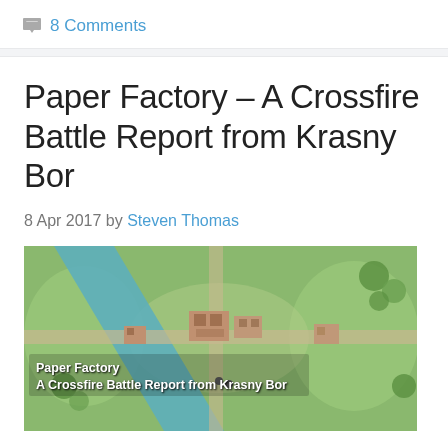8 Comments
Paper Factory – A Crossfire Battle Report from Krasny Bor
8 Apr 2017 by Steven Thomas
[Figure (photo): Aerial view of a miniature wargaming table showing the Paper Factory scenario from Krasny Bor, with green terrain, a blue river, building ruins, and roads. Overlay text reads 'Paper Factory / A Crossfire Battle Report from Krasny Bor'.]
Jamie Wish and Chris Harrod played "Paper Factory" (KB1R), the second game of Krasny